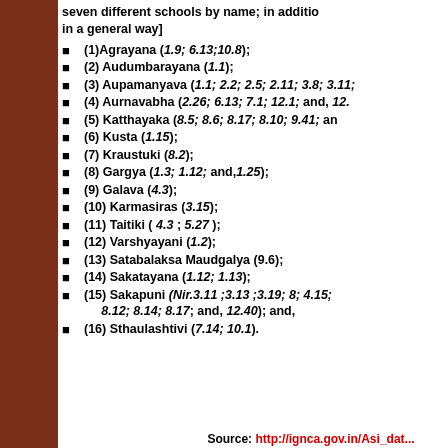seven different schools by name; in addition in a general way]
(1)Agrayana (1.9; 6.13;10.8);
(2) Audumbarayana (1.1);
(3) Aupamanyava (1.1; 2.2; 2.5; 2.11; 3.8; 3.11;
(4) Aurnavabha (2.26; 6.13; 7.1; 12.1; and, 12.
(5) Katthayaka (8.5; 8.6; 8.17; 8.10; 9.41; and
(6) Kusta (1.15);
(7) Kraustuki (8.2);
(8) Gargya (1.3; 1.12; and,1.25);
(9) Galava (4.3);
(10) Karmasiras (3.15);
(11) Taitiki ( 4.3 ; 5.27 );
(12) Varshyayani (1.2);
(13) Satabalaksa Maudgalya (9.6);
(14) Sakatayana (1.12; 1.13);
(15) Sakapuni (Nir.3.11 ;3.13 ;3.19; 8; 4.15; 8.12; 8.14; 8.17; and, 12.40); and,
(16) Sthaulashtivi (7.14; 10.1).
Source: http://ignca.gov.in/Asi_data/(1...